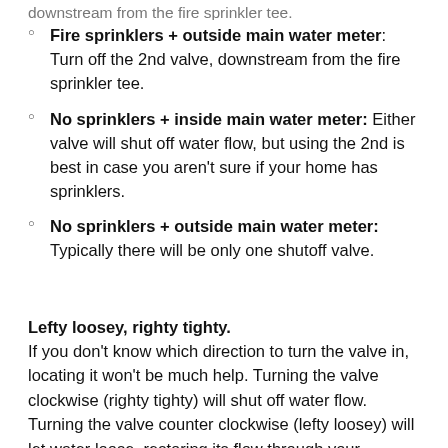Fire sprinklers + outside main water meter: Turn off the 2nd valve, downstream from the fire sprinkler tee.
No sprinklers + inside main water meter: Either valve will shut off water flow, but using the 2nd is best in case you aren't sure if your home has sprinklers.
No sprinklers + outside main water meter: Typically there will be only one shutoff valve.
Lefty loosey, righty tighty.
If you don't know which direction to turn the valve in, locating it won't be much help. Turning the valve clockwise (righty tighty) will shut off water flow. Turning the valve counter clockwise (lefty loosey) will let water loose, restoring its flow through your